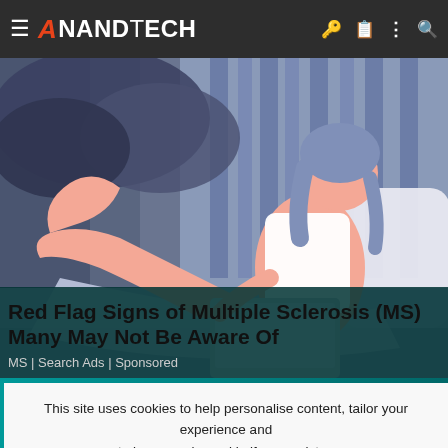AnandTech
[Figure (illustration): Illustrated person reclining on a bed/couch, holding a laptop, with blue and purple background tones]
Red Flag Signs of Multiple Sclerosis (MS) Many May Not Be Aware Of
MS | Search Ads | Sponsored
This site uses cookies to help personalise content, tailor your experience and to keep you logged in if you register.
By continuing to use this site, you are consenting to our use of cookies.